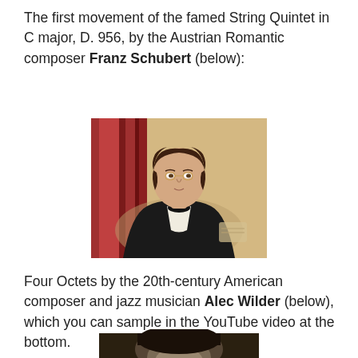The first movement of the famed String Quintet in C major, D. 956, by the Austrian Romantic composer Franz Schubert (below):
[Figure (photo): Portrait painting of Franz Schubert, a young man in a dark jacket with a bow tie, against a reddish background]
Four Octets by the 20th-century American composer and jazz musician Alec Wilder (below), which you can sample in the YouTube video at the bottom.
[Figure (photo): Partial black and white photograph of Alec Wilder, cropped at top of image]